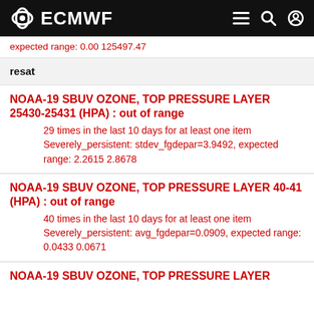ECMWF
expected range: 0.00 125497.47
resat
NOAA-19 SBUV OZONE, TOP PRESSURE LAYER 25430-25431 (HPA) : out of range
29 times in the last 10 days for at least one item
Severely_persistent: stdev_fgdepar=3.9492, expected range: 2.2615 2.8678
NOAA-19 SBUV OZONE, TOP PRESSURE LAYER 40-41 (HPA) : out of range
40 times in the last 10 days for at least one item
Severely_persistent: avg_fgdepar=0.0909, expected range: 0.0433 0.0671
NOAA-19 SBUV OZONE, TOP PRESSURE LAYER